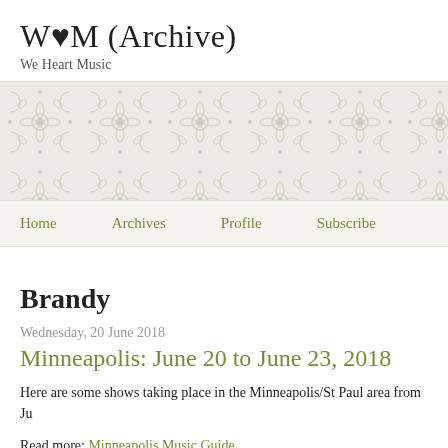W♥M (Archive)
We Heart Music
[Figure (illustration): Decorative damask floral pattern in light gray on pale background]
Home   Archives   Profile   Subscribe
Brandy
Wednesday, 20 June 2018
Minneapolis: June 20 to June 23, 2018
Here are some shows taking place in the Minneapolis/St Paul area from Ju
Read more: Minneapolis Music Guide.